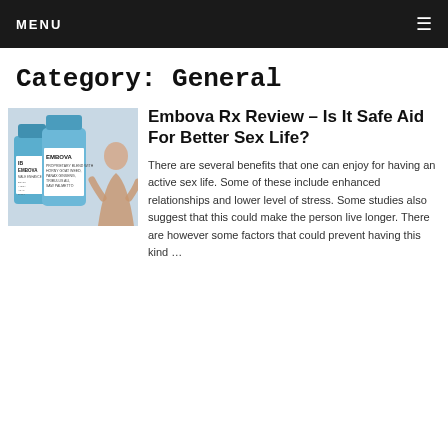MENU
Category: General
[Figure (photo): Product image of Embova Rx supplement bottles alongside a person]
Embova Rx Review – Is It Safe Aid For Better Sex Life?
There are several benefits that one can enjoy for having an active sex life. Some of these include enhanced relationships and lower level of stress. Some studies also suggest that this could make the person live longer. There are however some factors that could prevent having this kind …